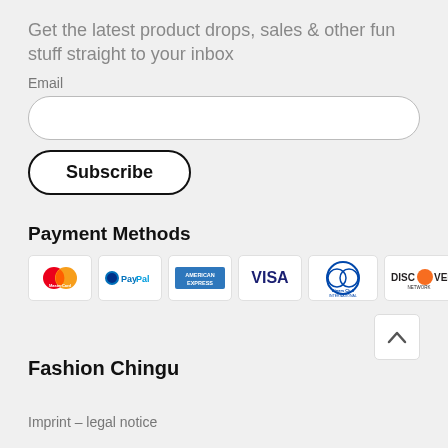Get the latest product drops, sales & other fun stuff straight to your inbox
Email
Subscribe
Payment Methods
[Figure (logo): Payment method logos: MasterCard, PayPal, American Express, VISA, Diners Club International, Discover Network]
Fashion Chingu
Imprint - legal notice